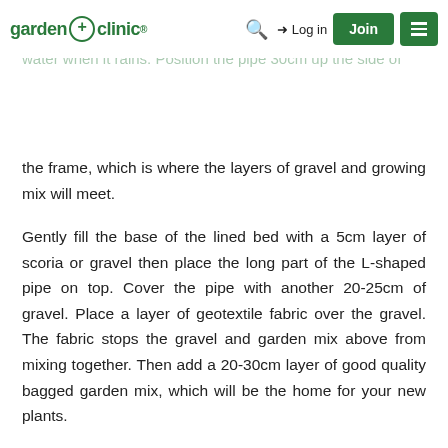garden+clinic® | Log in | Join
the frame, which is where the layers of gravel and growing mix will meet.
Gently fill the base of the lined bed with a 5cm layer of scoria or gravel then place the long part of the L-shaped pipe on top. Cover the pipe with another 20-25cm of gravel. Place a layer of geotextile fabric over the gravel. The fabric stops the gravel and garden mix above from mixing together. Then add a 20-30cm layer of good quality bagged garden mix, which will be the home for your new plants.
MAINTENANCE TIPS
The gravel reservoir is filled with water from the top of the